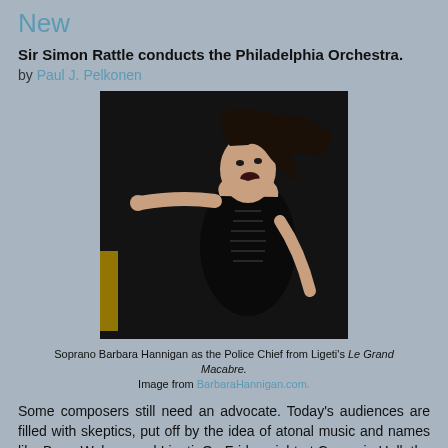New
Sir Simon Rattle conducts the Philadelphia Orchestra.
by Paul J. Pelkonen
[Figure (photo): Soprano Barbara Hannigan as the Police Chief from Ligeti's Le Grand Macabre, arms outstretched, wearing a black corset costume, mouth open, hair flying.]
Soprano Barbara Hannigan as the Police Chief from Ligeti's Le Grand Macabre. Image from BarbaraHannigan.com.
Some composers still need an advocate. Today's audiences are filled with skeptics, put off by the idea of atonal music and names like Berg, Webern and Ligeti. On Friday night at Carnegie Hall, the Philadelphia Orchestra returned to Carnegie Hall under the baton of Sir Simon Rattle, the